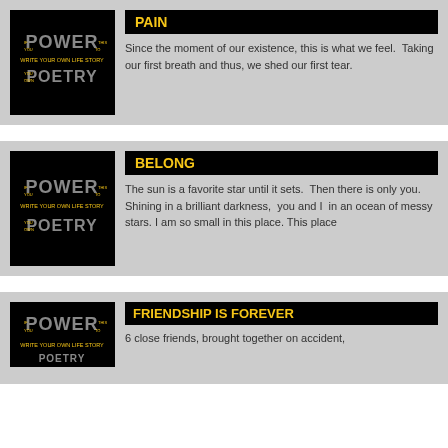[Figure (illustration): Power of Poetry book cover on black background - card 1]
PAIN
Since the moment of our existence, this is what we feel.  Taking our first breath and thus, we shed our first tear.
[Figure (illustration): Power of Poetry book cover on black background - card 2]
BELONG
The sun is a favorite star until it sets.  Then there is only you.  Shining in a brilliant darkness,  you and I  in an ocean of messy stars. I am so small in this place. This place
[Figure (illustration): Power of Poetry book cover on black background - card 3 (partial)]
FRIENDSHIP IS FOREVER
6 close friends, brought together on accident,